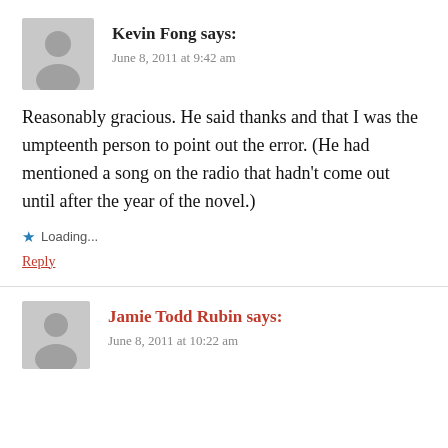Kevin Fong says:
June 8, 2011 at 9:42 am
Reasonably gracious. He said thanks and that I was the umpteenth person to point out the error. (He had mentioned a song on the radio that hadn't come out until after the year of the novel.)
Loading...
Reply
Jamie Todd Rubin says:
June 8, 2011 at 10:22 am